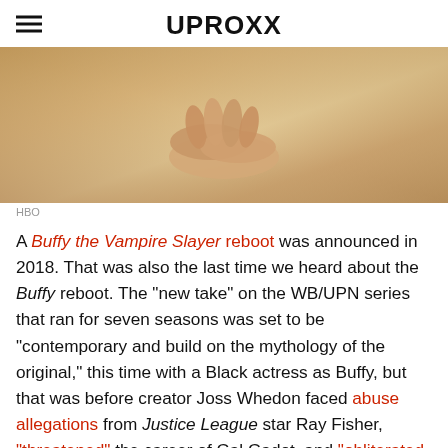UPROXX
[Figure (photo): Close-up photo of a person's hands clasped together, wearing what appears to be a textured golden/brown garment]
HBO
A Buffy the Vampire Slayer reboot was announced in 2018. That was also the last time we heard about the Buffy reboot. The “new take” on the WB/UPN series that ran for seven seasons was set to be “contemporary and build on the mythology of the original,” this time with a Black actress as Buffy, but that was before creator Joss Whedon faced abuse allegations from Justice League star Ray Fisher, “threatened” the career of Gal Gadot, and “obliterated his career” in an interview with New York magazine. Buffy and Angel star Charisma Carpenter also said